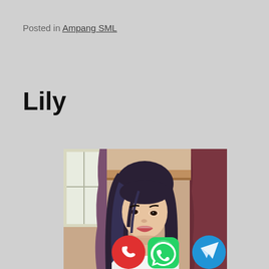Posted in Ampang SML
Lily
[Figure (photo): Portrait photo of a young woman with long dark hair, wearing a white top, sitting in a room with purple/maroon curtains in the background. Three contact icons overlaid at the bottom: red phone/call button, green WhatsApp button, and blue Telegram button.]